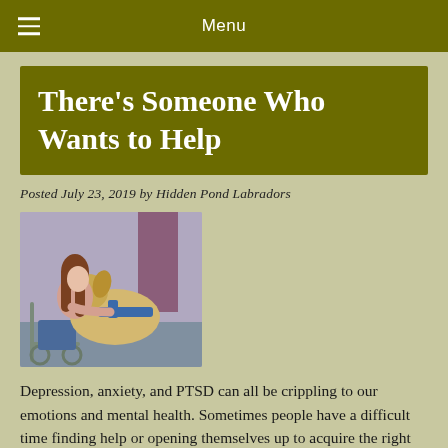Menu
There's Someone Who Wants to Help
Posted July 23, 2019 by Hidden Pond Labradors
[Figure (photo): A young woman with long brown hair leans forward to embrace a yellow Labrador service dog wearing a blue harness. The woman appears to be seated in a wheelchair. The setting is indoors with a light purple/lavender background.]
Depression, anxiety, and PTSD can all be crippling to our emotions and mental health. Sometimes people have a difficult time finding help or opening themselves up to acquire the right help for their